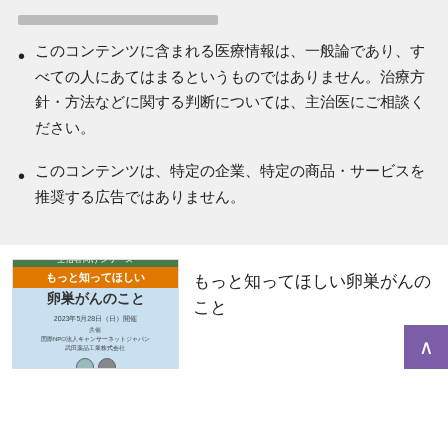██████████████████████
このコンテンツに含まれる医療情報は、一般論であり、すべての人にあてはまるというものではありません。治療方針・方法などに関する判断については、主治医にご相談ください。
このコンテンツは、特定の企業、特定の商品・サービスを推奨する広告ではありません。
[Figure (illustration): Book cover thumbnail for 'もっと知ってほしい卵巣がんのこと', 2023年5月28日開催, 国際NPO法人キャンサーネットジャパン・武田薬品工業株式会社 共催]
もっと知ってほしい卵巣がんのこと